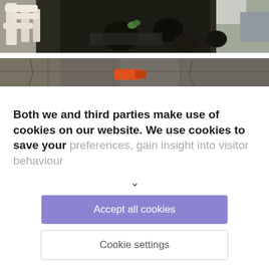[Figure (photo): Close-up photo of white bones, debris, and dark soil/water on the ground with a small green plant visible]
[Figure (photo): Photo of paving stones with an orange object visible on the ground]
Both we and third parties make use of cookies on our website. We use cookies to save your preferences, gain insight into visitor behaviour
Accept all cookies
Cookie settings